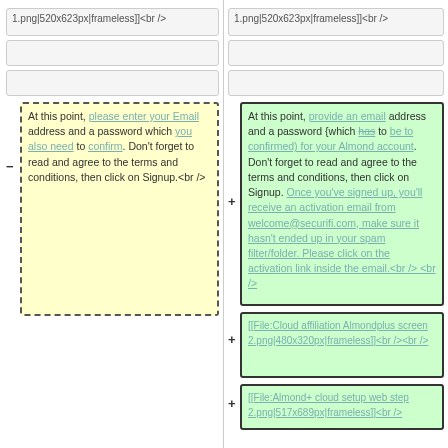1.png|520x623px|frameless]]<br />
1.png|520x623px|frameless]]<br />
At this point, please enter your Email address and a password which you also need to confirm. Don't forget to read and agree to the terms and conditions, then click on Signup.<br />
At this point, provide an email address and a password {which has to be to confirmed) for your Almond account. Don't forget to read and agree to the terms and conditions, then click on Signup. Once you've signed up, you'll receive an activation email from welcome@securifi.com, make sure it hasn't ended up in your spam filter/folder. Please click on the activation link inside the email.<br /><br />
[[File:Cloud affiliation Almondplus screen 2.png|480x320px|frameless]]<br /><br />
[[File:Almond+ cloud setup web step 2.png|517x689px|frameless]]<br />